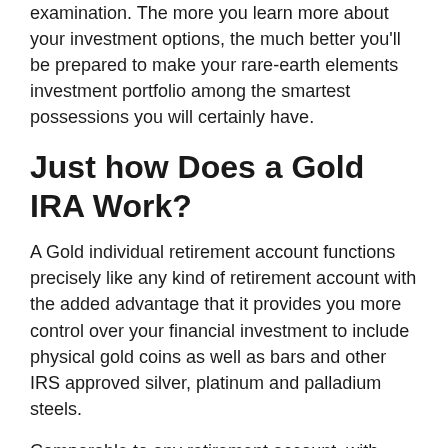examination. The more you learn more about your investment options, the much better you'll be prepared to make your rare-earth elements investment portfolio among the smartest possessions you will certainly have.
Just how Does a Gold IRA Work?
A Gold individual retirement account functions precisely like any kind of retirement account with the added advantage that it provides you more control over your financial investment to include physical gold coins as well as bars and other IRS approved silver, platinum and palladium steels.
Comparable to any retirement account, with